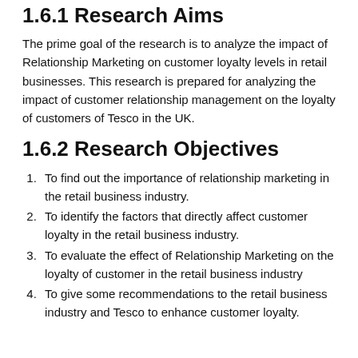1.6.1 Research Aims
The prime goal of the research is to analyze the impact of Relationship Marketing on customer loyalty levels in retail businesses. This research is prepared for analyzing the impact of customer relationship management on the loyalty of customers of Tesco in the UK.
1.6.2 Research Objectives
To find out the importance of relationship marketing in the retail business industry.
To identify the factors that directly affect customer loyalty in the retail business industry.
To evaluate the effect of Relationship Marketing on the loyalty of customer in the retail business industry
To give some recommendations to the retail business industry and Tesco to enhance customer loyalty.